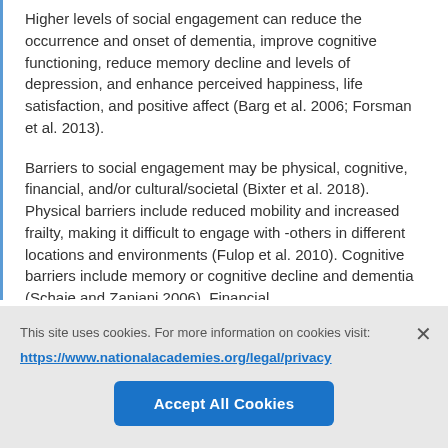Higher levels of social engagement can reduce the occurrence and onset of dementia, improve cognitive functioning, reduce memory decline and levels of depression, and enhance perceived happiness, life satisfaction, and positive affect (Barg et al. 2006; Forsman et al. 2013).
Barriers to social engagement may be physical, cognitive, financial, and/or cultural/societal (Bixter et al. 2018). Physical barriers include reduced mobility and increased frailty, making it difficult to engage with -others in different locations and environments (Fulop et al. 2010). Cognitive barriers include memory or cognitive decline and dementia (Schaie and Zanjani 2006). Financial
This site uses cookies. For more information on cookies visit:
https://www.nationalacademies.org/legal/privacy
Accept All Cookies